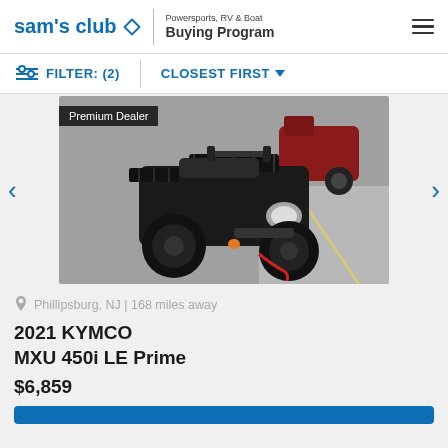sam's club — Powersports, RV & Boat Buying Program
FILTER: (2)   CLOSEST FIRST
[Figure (photo): Black KYMCO ATV/quad parked on pavement, front-facing view, with a red ATV partially visible in the background. A 'Premium Dealer' badge overlays the top-left of the image.]
Phillipsburg, NJ | 168 miles away
2021 KYMCO
MXU 450i LE Prime
$6,859